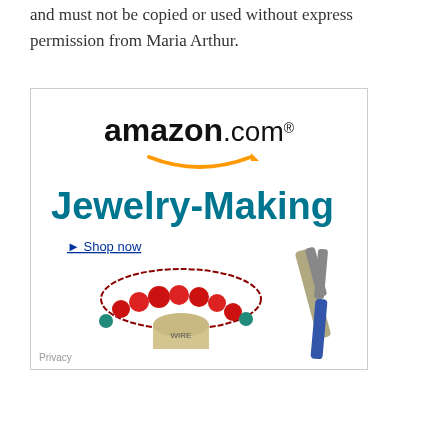and must not be copied or used without express permission from Maria Arthur.
[Figure (illustration): Amazon.com Jewelry-Making advertisement banner showing the Amazon logo with orange arrow, 'Jewelry-Making' text in teal, 'Shop now' link, and product imagery including red crystal beads on wire, a spool of wire, and needle-nose pliers. Privacy link in bottom left.]